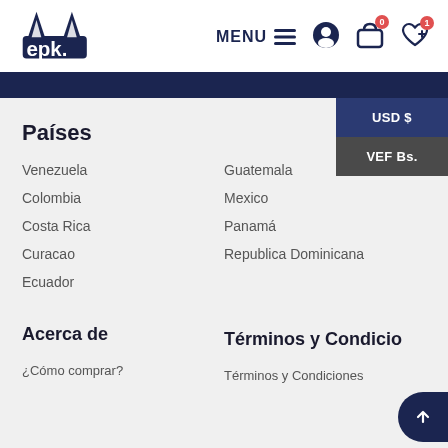EPK logo, MENU, user icon, cart (0), wishlist (1)
Países
Venezuela
Colombia
Costa Rica
Curacao
Ecuador
Guatemala
Mexico
Panamá
Republica Dominicana
Acerca de
¿Cómo comprar?
Términos y Condiciones
Términos y Condiciones